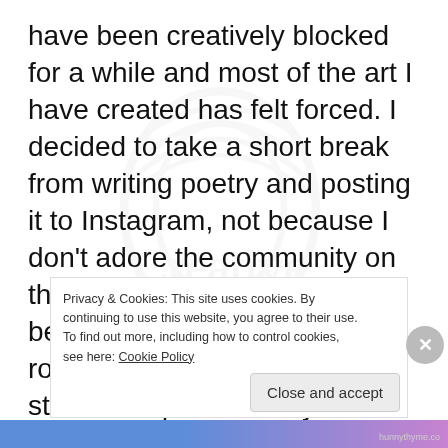have been creatively blocked for a while and most of the art I have created has felt forced. I decided to take a short break from writing poetry and posting it to Instagram, not because I don't adore the community on there, because I do, but because I had forgotten my roots, my reasons for writing. I started to question why I write and it led me to find some of my old poetry, poems and stories I wrote as a young
Privacy & Cookies: This site uses cookies. By continuing to use this website, you agree to their use.
To find out more, including how to control cookies, see here: Cookie Policy
Close and accept